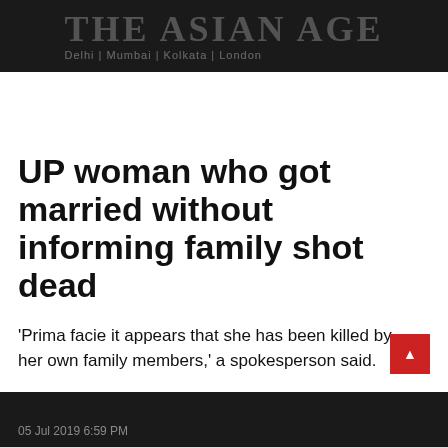THE ASIAN AGE
Delhi | Mumbai | Kolkata | London
UP woman who got married without informing family shot dead
'Prima facie it appears that she has been killed by her own family members,' a spokesperson said.
05 Jul 2019 6:59 PM